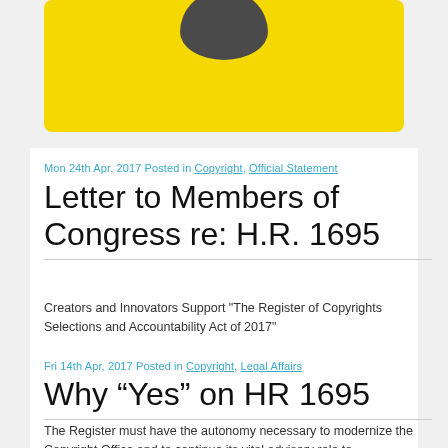[Figure (illustration): Yellow rounded rectangle with a dark circular shape at top center, partially cropped at top of page]
Mon 24th Apr, 2017 Posted in Copyright, Official Statement
Letter to Members of Congress re: H.R. 1695
Creators and Innovators Support "The Register of Copyrights Selections and Accountability Act of 2017"
Fri 14th Apr, 2017 Posted in Copyright, Legal Affairs
Why “Yes” on HR 1695
The Register must have the autonomy necessary to modernize the Copyright Office and to continue its vital advisory role to